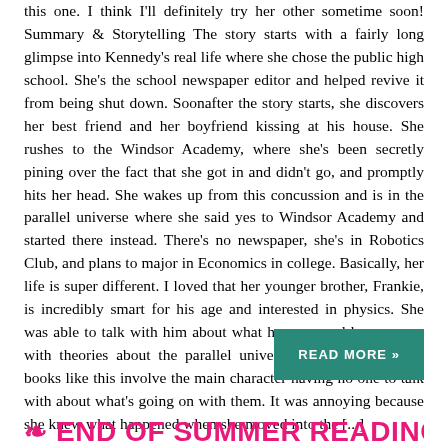this one. I think I'll definitely try her other sometime soon! Summary & Storytelling The story starts with a fairly long glimpse into Kennedy's real life where she chose the public high school. She's the school newspaper editor and helped revive it from being shut down. Soonafter the story starts, she discovers her best friend and her boyfriend kissing at his house. She rushes to the Windsor Academy, where she's been secretly pining over the fact that she got in and didn't go, and promptly hits her head. She wakes up from this concussion and is in the parallel universe where she said yes to Windsor Academy and started there instead. There's no newspaper, she's in Robotics Club, and plans to major in Economics in college. Basically, her life is super different. I loved that her younger brother, Frankie, is incredibly smart for his age and interested in physics. She was able to talk with him about what happens and he came up with theories about the parallel universes out there. Usually books like this involve the main character having no one to talk with about what's going on with them. It was annoying because she knew what happened when she moved into the [...]
READ MORE »
END OF SUMMER READING BL...